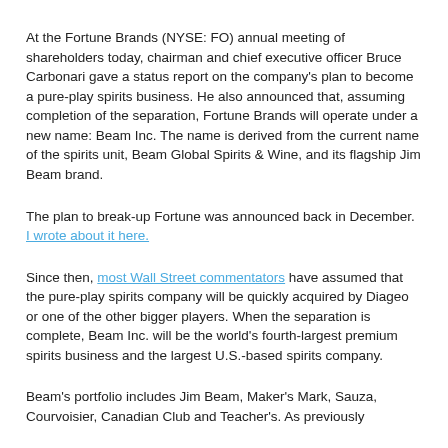At the Fortune Brands (NYSE: FO) annual meeting of shareholders today, chairman and chief executive officer Bruce Carbonari gave a status report on the company's plan to become a pure-play spirits business. He also announced that, assuming completion of the separation, Fortune Brands will operate under a new name: Beam Inc. The name is derived from the current name of the spirits unit, Beam Global Spirits & Wine, and its flagship Jim Beam brand.
The plan to break-up Fortune was announced back in December. I wrote about it here.
Since then, most Wall Street commentators have assumed that the pure-play spirits company will be quickly acquired by Diageo or one of the other bigger players. When the separation is complete, Beam Inc. will be the world's fourth-largest premium spirits business and the largest U.S.-based spirits company.
Beam's portfolio includes Jim Beam, Maker's Mark, Sauza, Courvoisier, Canadian Club and Teacher's. As previously